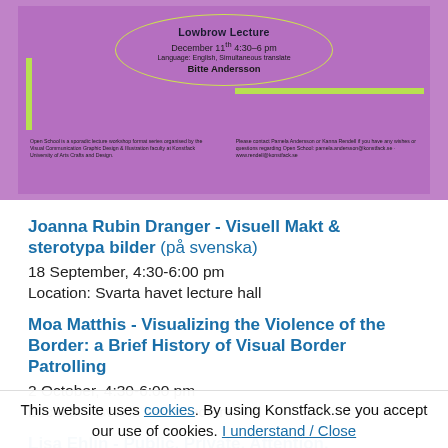[Figure (illustration): Purple background promotional poster for a Lowbrow Lecture event. Shows an oval border, event details for December 11th 4:30-6pm, speaker name Bitte Andersson, green horizontal and vertical bars, and small text about Open School organized by Visual Communication Graphic Design & Illustration faculty at Konstfack University of Arts Crafts and Design. Contact info for Pamela Andersson or Kanna Renell.]
Joanna Rubin Dranger - Visuell Makt & sterotypa bilder (på svenska)
18 September, 4:30-6:00 pm
Location: Svarta havet lecture hall
Moa Matthis - Visualizing the Violence of the Border: a Brief History of Visual Border Patrolling
2 October, 4:30-6:00 pm
Location: Svarta havet lecture hall
Lisa Ehlin - Public. Private. Attention.
This website uses cookies. By using Konstfack.se you accept our use of cookies. I understand / Close